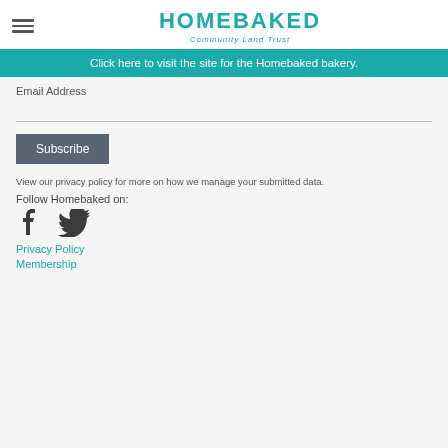HOMEBAKED Community Land Trust
Click here to visit the site for the Homebaked bakery.
Email Address
Subscribe
View our privacy policy for more on how we manage your submitted data.
Follow Homebaked on:
[Figure (illustration): Facebook and Twitter social media icons]
Privacy Policy
Membership